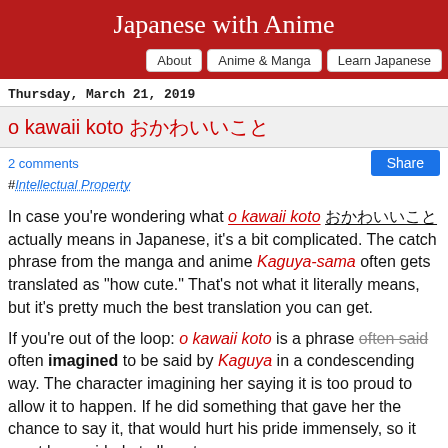Japanese with Anime
About | Anime & Manga | Learn Japanese
Thursday, March 21, 2019
o kawaii koto おかわいいこと
2 comments
#Intellectual Property
In case you're wondering what o kawaii koto おかわいいこと actually means in Japanese, it's a bit complicated. The catch phrase from the manga and anime Kaguya-sama often gets translated as "how cute." That's not what it literally means, but it's pretty much the best translation you can get.
If you're out of the loop: o kawaii koto is a phrase often said often imagined to be said by Kaguya in a condescending way. The character imagining her saying it is too proud to allow it to happen. If he did something that gave her the chance to say it, that would hurt his pride immensely, so it must be avoided at all costs.